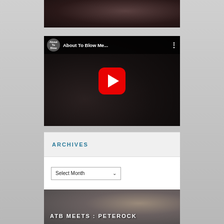[Figure (photo): Top partial image strip showing dark toned scene, cropped at top of page]
[Figure (screenshot): YouTube video embed showing 'About To Blow Me...' with play button, channel logo, and three-dot menu]
ARCHIVES
[Figure (screenshot): Select Month dropdown form control]
[Figure (photo): Bottom partial image of person with cap, text overlay reading 'ATB MEETS : PETEROCK']